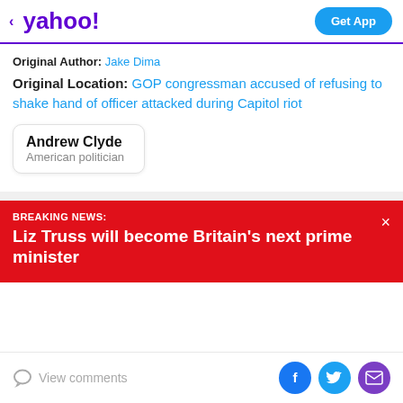< yahoo! | Get App
Original Author: Jake Dima
Original Location: GOP congressman accused of refusing to shake hand of officer attacked during Capitol riot
Andrew Clyde
American politician
BREAKING NEWS:
Liz Truss will become Britain's next prime minister
View comments